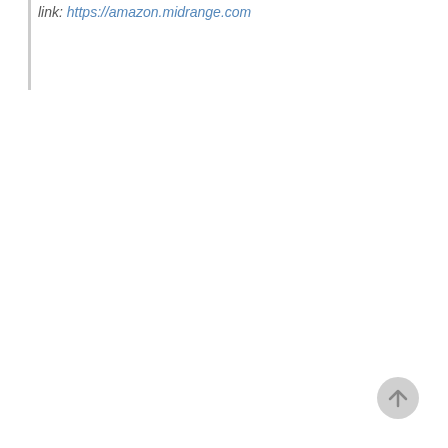link: https://amazon.midrange.com
[Figure (other): Back to top button - circular grey arrow icon in bottom right corner]